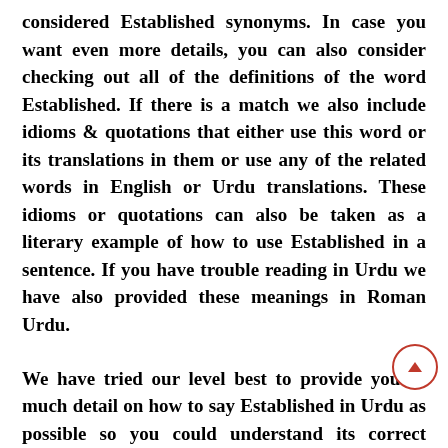considered Established synonyms. In case you want even more details, you can also consider checking out all of the definitions of the word Established. If there is a match we also include idioms & quotations that either use this word or its translations in them or use any of the related words in English or Urdu translations. These idioms or quotations can also be taken as a literary example of how to use Established in a sentence. If you have trouble reading in Urdu we have also provided these meanings in Roman Urdu.
We have tried our level best to provide you as much detail on how to say Established in Urdu as possible so you could understand its correct English to Urdu translation. We encourage everyone to contribute in adding more meanings to MeaningIn Dictionary by adding English to Urdu translations, Urdu to Roman